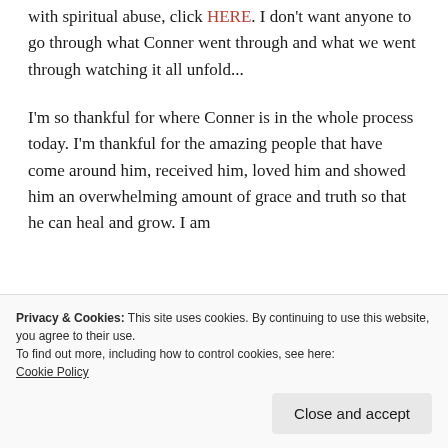with spiritual abuse, click HERE. I don't want anyone to go through what Conner went through and what we went through watching it all unfold...
I'm so thankful for where Conner is in the whole process today. I'm thankful for the amazing people that have come around him, received him, loved him and showed him an overwhelming amount of grace and truth so that he can heal and grow. I am
Privacy & Cookies: This site uses cookies. By continuing to use this website, you agree to their use.
To find out more, including how to control cookies, see here:
Cookie Policy